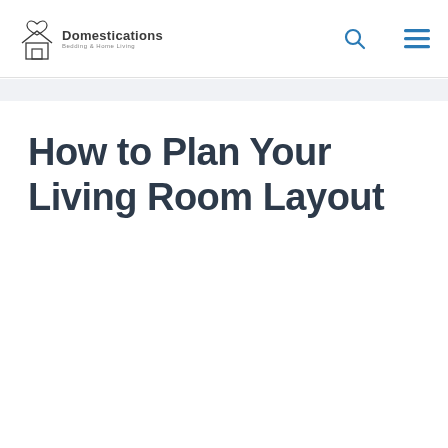Domestications Bedding & Home Living
How to Plan Your Living Room Layout